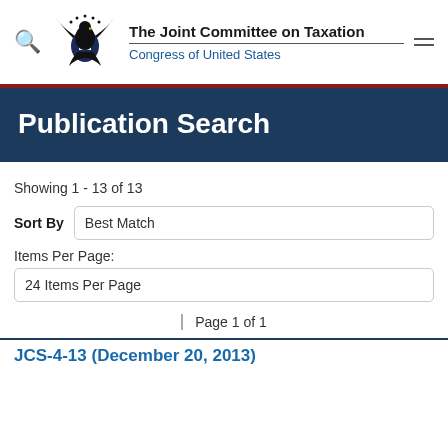The Joint Committee on Taxation — Congress of United States
Publication Search
Showing 1 - 13 of 13
Sort By   Best Match
Items Per Page:
24 Items Per Page
Page 1 of 1
JCS-4-13 (December 20, 2013)